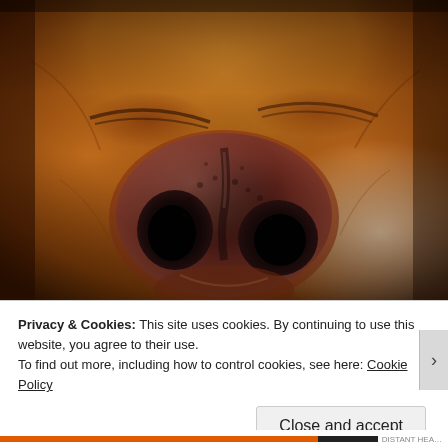[Figure (photo): Close-up photograph of a sleeping dog's face, showing a large brown/tan nose prominently centered, with closed eyes and warm orange-brown tones]
Privacy & Cookies: This site uses cookies. By continuing to use this website, you agree to their use.
To find out more, including how to control cookies, see here: Cookie Policy
Close and accept